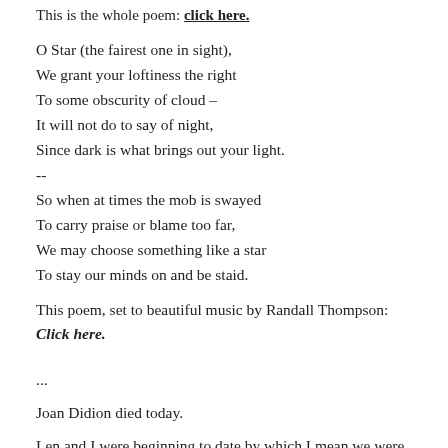This is the whole poem: Click here.
O Star (the fairest one in sight),
We grant your loftiness the right
To some obscurity of cloud –
It will not do to say of night,
Since dark is what brings out your light.

--
So when at times the mob is swayed
To carry praise or blame too far,
We may choose something like a star
To stay our minds on and be staid.
This poem, set to beautiful music by Randall Thompson: Click here.
...
Joan Didion died today.
Len and I were beginning to date by which I mean we were beginning to realize there was another person in the world who "got" us.  I was interested in his stories; he was interested in mine.  It's pretty heady, those early days of finding your person.